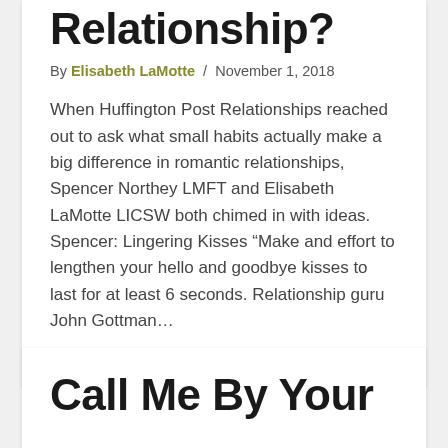Relationship?
By Elisabeth LaMotte / November 1, 2018
When Huffington Post Relationships reached out to ask what small habits actually make a big difference in romantic relationships, Spencer Northey LMFT and Elisabeth LaMotte LICSW both chimed in with ideas. Spencer: Lingering Kisses “Make and effort to lengthen your hello and goodbye kisses to last for at least 6 seconds. Relationship guru John Gottman…
Read More
Call Me By Your